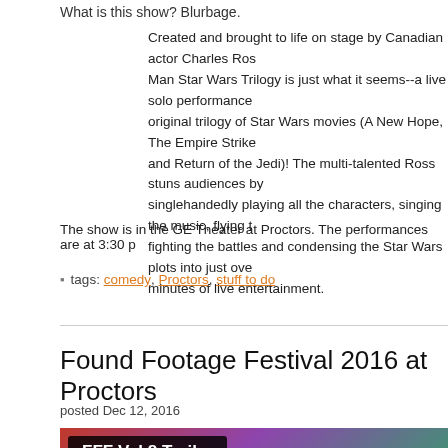What is this show? Blurbage.
Created and brought to life on stage by Canadian actor Charles Ros... Man Star Wars Trilogy is just what it seems--a live solo performance... original trilogy of Star Wars movies (A New Hope, The Empire Strike... and Return of the Jedi)! The multi-talented Ross stuns audiences by singlehandedly playing all the characters, singing the music, flying t... fighting the battles and condensing the Star Wars plots into just ove... minutes of live entertainment.
The show is in the GE Theater at Proctors. The performances are at 3:30 p
tags: comedy, Proctors, stuff to do
Found Footage Festival 2016 at Proctors
posted Dec 12, 2016
[Figure (screenshot): Video thumbnail showing FFF Vol 8 Trailer / Found Footage Festival with a blurred person on a colorful background]